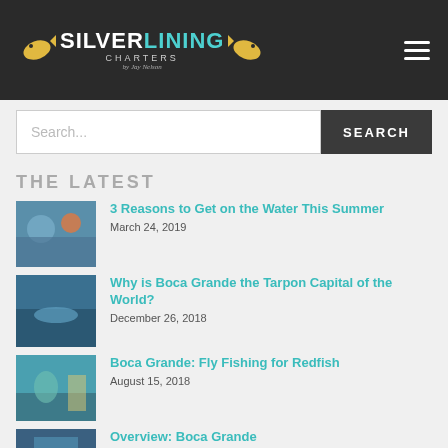Silver Lining Charters
Search...
THE LATEST
[Figure (photo): Thumbnail photo of people fishing on a boat]
3 Reasons to Get on the Water This Summer
March 24, 2019
[Figure (photo): Thumbnail photo of a tarpon in water]
Why is Boca Grande the Tarpon Capital of the World?
December 26, 2018
[Figure (photo): Thumbnail photo of person holding a redfish]
Boca Grande: Fly Fishing for Redfish
August 15, 2018
[Figure (photo): Thumbnail photo related to Boca Grande Tarpon Fishing]
Overview: Boca Grande Tarpon Fishing